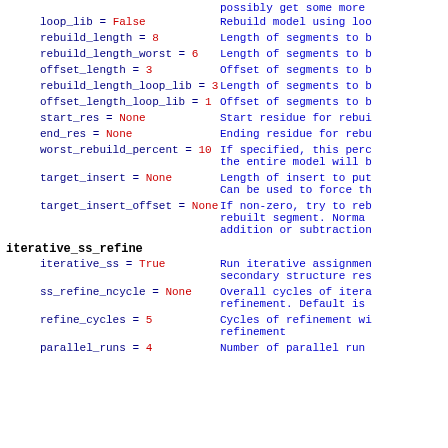possibly get some more
loop_lib = False | Rebuild model using loo
rebuild_length = 8 | Length of segments to b
rebuild_length_worst = 6 | Length of segments to b
offset_length = 3 | Offset of segments to b
rebuild_length_loop_lib = 3 | Length of segments to b
offset_length_loop_lib = 1 | Offset of segments to b
start_res = None | Start residue for rebui
end_res = None | Ending residue for rebu
worst_rebuild_percent = 10 | If specified, this perc the entire model will b
target_insert = None | Length of insert to put Can be used to force th
target_insert_offset = None | If non-zero, try to reb rebuilt segment. Norma addition or subtraction
iterative_ss_refine
iterative_ss = True | Run iterative assignmen secondary structure res
ss_refine_ncycle = None | Overall cycles of itera refinement. Default is
refine_cycles = 5 | Cycles of refinement wi refinement
parallel_runs = 4 | Number of parallel run